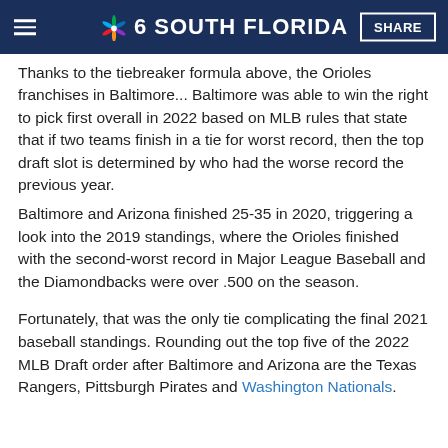NBC 6 South Florida — SHARE
Thanks to the tiebreaker formula above, the Orioles franchises in Baltimore... Baltimore was able to win the right to pick first overall in 2022 based on MLB rules that state that if two teams finish in a tie for worst record, then the top draft slot is determined by who had the worse record the previous year.
Baltimore and Arizona finished 25-35 in 2020, triggering a look into the 2019 standings, where the Orioles finished with the second-worst record in Major League Baseball and the Diamondbacks were over .500 on the season.
Fortunately, that was the only tie complicating the final 2021 baseball standings. Rounding out the top five of the 2022 MLB Draft order after Baltimore and Arizona are the Texas Rangers, Pittsburgh Pirates and Washington Nationals.